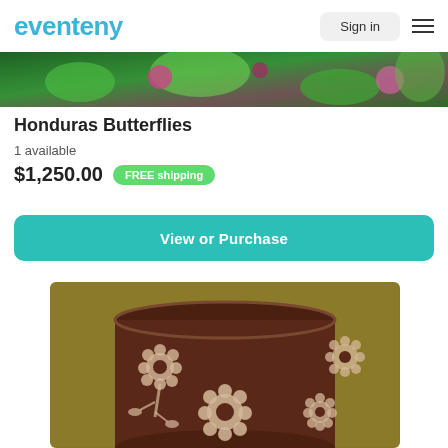eventeny | Sign in
[Figure (photo): Top portion of a colorful butterfly or floral photo used as hero banner image]
Honduras Butterflies
1 available
$1,250.00  FREE shipping
View or Purchase
[Figure (photo): Brown cylindrical pot or vase with cream/beige floral flower designs on an olive/mustard background]